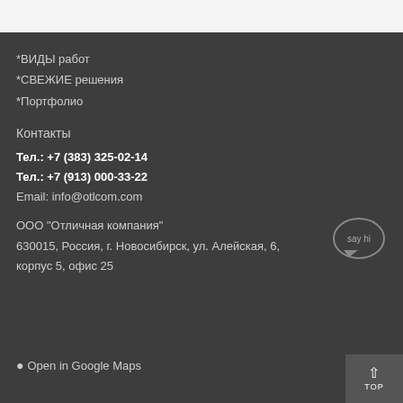*ВИДЫ работ
*СВЕЖИЕ решения
*Портфолио
Контакты
Тел.: +7 (383) 325-02-14
Тел.: +7 (913) 000-33-22
Email: info@otlcom.com
ООО "Отличная компания"
630015, Россия, г. Новосибирск, ул. Алейская, 6, корпус 5, офис 25
Open in Google Maps
[Figure (other): Chat/messenger bubble icon with 'say hi' text]
TOP